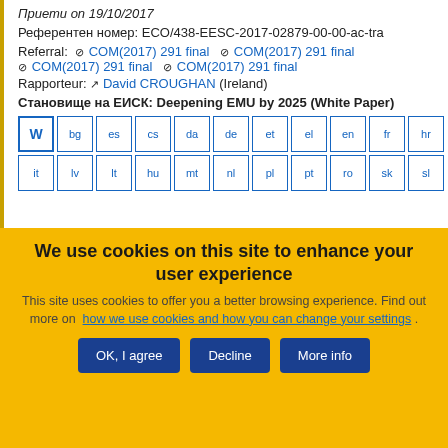Приети on 19/10/2017
Референтен номер: ECO/438-EESC-2017-02879-00-00-ac-tra
Referral: COM(2017) 291 final  COM(2017) 291 final  COM(2017) 291 final  COM(2017) 291 final
Rapporteur: David CROUGHAN (Ireland)
Становище на ЕИСК: Deepening EMU by 2025 (White Paper)
[Figure (other): Language selection buttons: W (Word), bg, es, cs, da, de, et, el, en, fr, hr, it, lv, lt, hu, mt, nl, pl, pt, ro, sk, sl]
We use cookies on this site to enhance your user experience
This site uses cookies to offer you a better browsing experience. Find out more on how we use cookies and how you can change your settings .
OK, I agree | Decline | More info